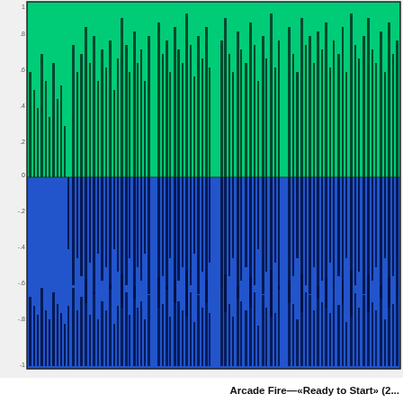[Figure (continuous-plot): Audio waveform / spectrogram visualization of Arcade Fire - Ready to Start. Upper half shows green filled waveform (positive channel) with dark spikes extending downward into a blue filled waveform region (negative channel) in the lower half. Both channels display dense vertical bars representing amplitude over time. Y-axis has numeric tick labels on the left side. X-axis runs along the bottom.]
Arcade Fire—«Ready to Start» (2...